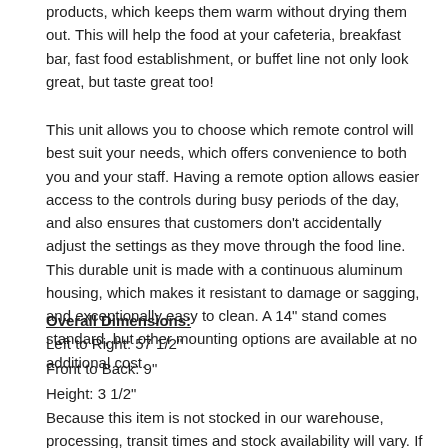products, which keeps them warm without drying them out. This will help the food at your cafeteria, breakfast bar, fast food establishment, or buffet line not only look great, but taste great too!
This unit allows you to choose which remote control will best suit your needs, which offers convenience to both you and your staff. Having a remote option allows easier access to the controls during busy periods of the day, and also ensures that customers don't accidentally adjust the settings as they move through the food line. This durable unit is made with a continuous aluminum housing, which makes it resistant to damage or sagging, and exceptionally easy to clean. A 14" stand comes standard, but other mounting options are available at no additional cost.
Overall Dimensions:
Left to Right: 57 1/2"
Front to Back: 9"
Height: 3 1/2"
Because this item is not stocked in our warehouse, processing, transit times and stock availability will vary. If you need your items by a certain date, please contact us prior to placing your order.